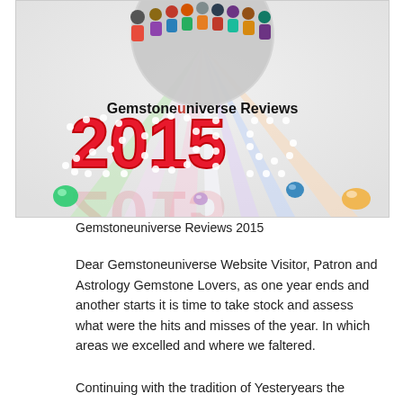[Figure (illustration): Colorful illustration with diverse group of people at top in a circular arrangement, colorful light beams radiating downward, text 'Gemstoneuniverse Reviews' above large decorative '2015' in red marquee style digits, with gemstones (green, purple, blue, yellow) at the bottom corners.]
Gemstoneuniverse Reviews 2015
Dear Gemstoneuniverse Website Visitor, Patron and Astrology Gemstone Lovers, as one year ends and another starts it is time to take stock and assess what were the hits and misses of the year. In which areas we excelled and where we faltered.
Continuing with the tradition of Yesteryears the